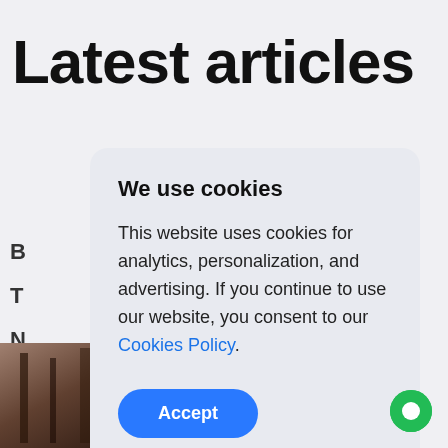Latest articles
We use cookies
This website uses cookies for analytics, personalization, and advertising. If you continue to use our website, you consent to our Cookies Policy.
Accept